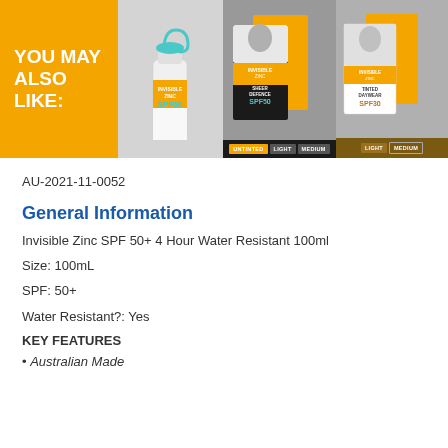[Figure (photo): YOU MAY ALSO LIKE banner showing Invisible Zinc SPF50 product lineup including a bottle, Sheer Defence SPF50 boxes, and Tinted Daywear boxes with shade options (Untinted, Light, Medium and Light, Medium)]
AU-2021-11-0052
General Information
Invisible Zinc SPF 50+ 4 Hour Water Resistant 100ml
Size: 100mL
SPF: 50+
Water Resistant?: Yes
KEY FEATURES
• Australian Made